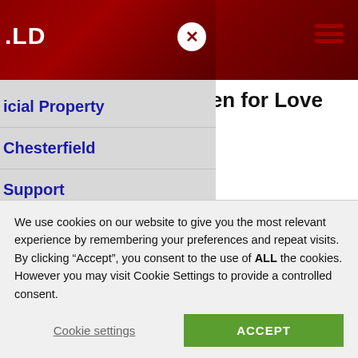[Figure (screenshot): Website page screenshot showing a navigation overlay menu on the left over a dark red header banner, with partial page content visible on the right side showing a title partially cut off ('open for Love ... 2') and body text about an event at the end of July, organised in association with management. A cookie consent banner is overlaid at the bottom.]
icial Property
Chesterfield
Support
dies
ce Venues
Events
t the end of July nounced at the per 2022. ganised by iation with management and kind support of about the
We use cookies on our website to give you the most relevant experience by remembering your preferences and repeat visits. By clicking “Accept”, you consent to the use of ALL the cookies. However you may visit Cookie Settings to provide a controlled consent.
Cookie settings
ACCEPT